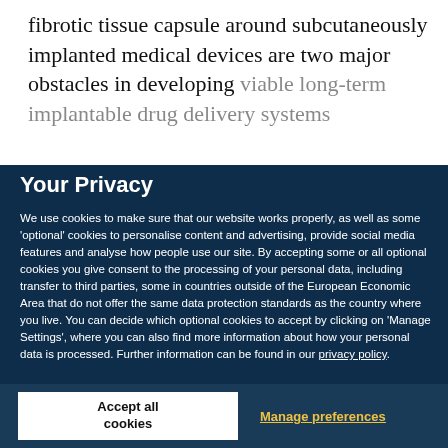fibrotic tissue capsule around subcutaneously implanted medical devices are two major obstacles in developing viable long-term implantable drug delivery systems
Your Privacy
We use cookies to make sure that our website works properly, as well as some 'optional' cookies to personalise content and advertising, provide social media features and analyse how people use our site. By accepting some or all optional cookies you give consent to the processing of your personal data, including transfer to third parties, some in countries outside of the European Economic Area that do not offer the same data protection standards as the country where you live. You can decide which optional cookies to accept by clicking on 'Manage Settings', where you can also find more information about how your personal data is processed. Further information can be found in our privacy policy.
Accept all cookies
Manage preferences